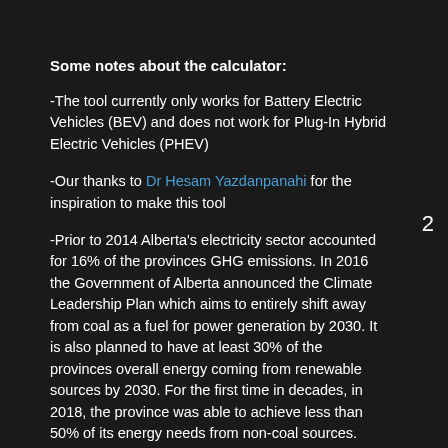Some notes about the calculator:
-The tool currently only works for Battery Electric Vehicles (BEV) and does not work for Plug-In Hybrid Electric Vehicles (PHEV)
-Our thanks to Dr Hesam Yazdanpanahi for the inspiration to make this tool
-Prior to 2014 Alberta’s electricity sector accounted for 16% of the provinces GHG emissions. In 2016 the Government of Alberta announced the Climate Leadership Plan which aims to entirely shift away from coal as a fuel for power generation by 2030. It is also planned to have at least 30% of the provinces overall energy coming from renewable sources by 2030. For the first time in decades, in 2018, the province was able to achieve less than 50% of its energy needs from non-coal sources. This tool will be here every step of the way.
2